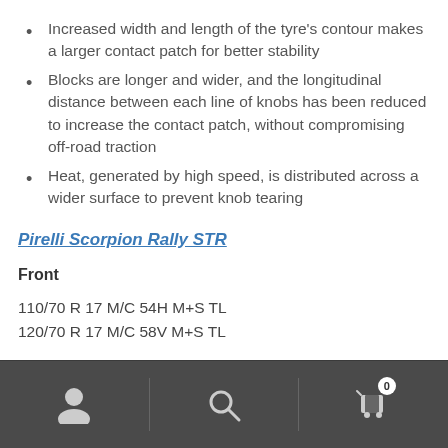Increased width and length of the tyre's contour makes a larger contact patch for better stability
Blocks are longer and wider, and the longitudinal distance between each line of knobs has been reduced to increase the contact patch, without compromising off-road traction
Heat, generated by high speed, is distributed across a wider surface to prevent knob tearing
Pirelli Scorpion Rally STR
Front
110/70 R 17 M/C 54H M+S TL
120/70 R 17 M/C 58V M+S TL
Navigation bar with user, search, and cart (0) icons